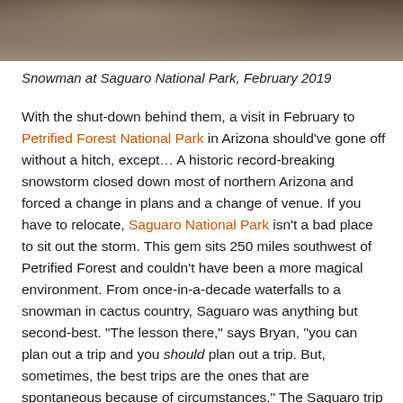[Figure (photo): Top portion of a photo showing a snowy or rocky ground scene at Saguaro National Park, cropped at the top edge of the page.]
Snowman at Saguaro National Park, February 2019
With the shut-down behind them, a visit in February to Petrified Forest National Park in Arizona should’ve gone off without a hitch, except… A historic record-breaking snowstorm closed down most of northern Arizona and forced a change in plans and a change of venue. If you have to relocate, Saguaro National Park isn’t a bad place to sit out the storm. This gem sits 250 miles southwest of Petrified Forest and couldn’t have been a more magical environment. From once-in-a-decade waterfalls to a snowman in cactus country, Saguaro was anything but second-best. “The lesson there,” says Bryan, “you can plan out a trip and you should plan out a trip. But, sometimes, the best trips are the ones that are spontaneous because of circumstances.” The Saguaro trip series begins here (episodes 15.1 - 15.5).